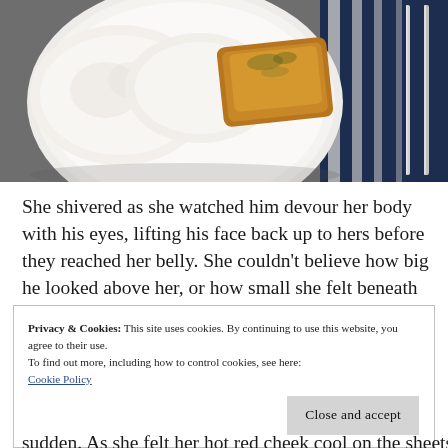[Figure (photo): A white plate with two fried eggs and a slice of toasted bread with herbs, on a dark navy striped cloth napkin with silverware (knife and fork) to the right, on a gray surface.]
She shivered as she watched him devour her body with his eyes, lifting his face back up to hers before they reached her belly. She couldn’t believe how big he looked above her, or how small she felt beneath him as the morning light bathed the room around them, highlighting the perfect angle of his beer belly.
Privacy & Cookies: This site uses cookies. By continuing to use this website, you agree to their use.
To find out more, including how to control cookies, see here:
Cookie Policy
Close and accept
sudden. As she felt her hot red cheek cool on the sheets